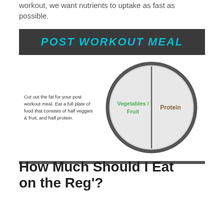workout, we want nutrients to uptake as fast as possible.
[Figure (infographic): Post Workout Meal infographic with dark banner header and a plate diagram split into two halves: Vegetables/Fruit (left, green text) and Protein (right, brown text)]
How Much Should I Eat on the Reg'?